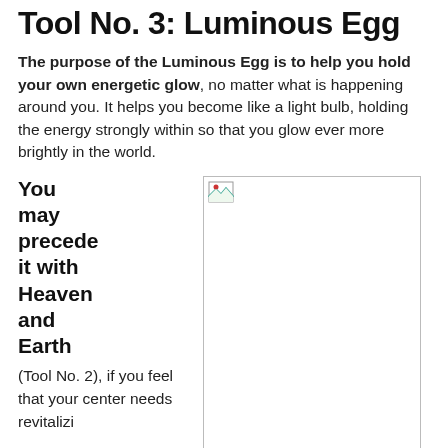Tool No. 3:  Luminous Egg
The purpose of the Luminous Egg is to help you hold your own energetic glow, no matter what is happening around you. It helps you become like a light bulb, holding the energy strongly within so that you glow ever more brightly in the world.
You may precede it with Heaven and Earth (Tool No. 2), if you feel that your center needs revitalizi
[Figure (photo): Image placeholder with broken image icon in the top-left corner, large white rectangle box with a thin border]